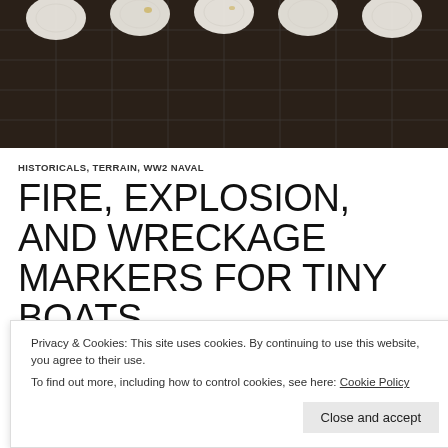[Figure (photo): Top-down view of white circular discs arranged on a dark gridded surface, reminiscent of miniature boat tokens or game pieces on a gaming mat]
HISTORICALS, TERRAIN, WW2 NAVAL
FIRE, EXPLOSION, AND WRECKAGE MARKERS FOR TINY BOATS
SEPTEMBER 22, 2021   BRIAN BURGER   LEAVE A COMMENT
Sometime earlier in the pandemic I ordered a batch of 1/1200...
Privacy & Cookies: This site uses cookies. By continuing to use this website, you agree to their use.
To find out more, including how to control cookies, see here: Cookie Policy
Close and accept